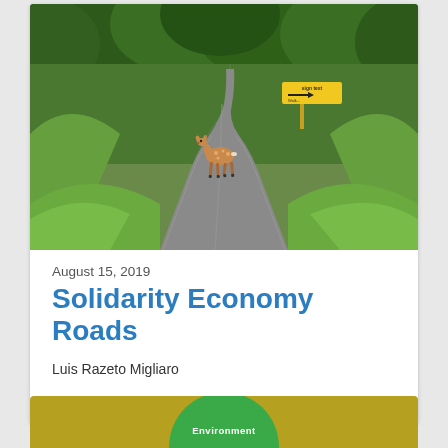[Figure (photo): A spotted deer standing on a narrow winding paved road through a green forest, with a yellow directional sign visible in the background among the trees.]
August 15, 2019
Solidarity Economy Roads
Luis Razeto Migliaro
[Figure (logo): Partial view of a green circular badge/logo on a golden/olive background, with the word 'Environment' visible at the bottom of the circle.]